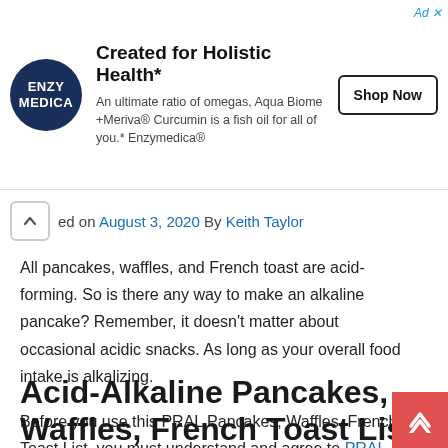[Figure (other): Advertisement banner for Enzymedica featuring logo, text about Aqua Biome + Meriva Curcumin fish oil and a Shop Now button]
ed on August 3, 2020 By Keith Taylor
All pancakes, waffles, and French toast are acid-forming. So is there any way to make an alkaline pancake? Remember, it doesn't matter about occasional acidic snacks. As long as your overall food intake is alkalizing.
Before you use this PRAL Pancakes, Waffles, French Toast List, you must understand and agree to PRAL Food Lists Principles
Acid-Alkaline Pancakes, Waffles, French Toast List